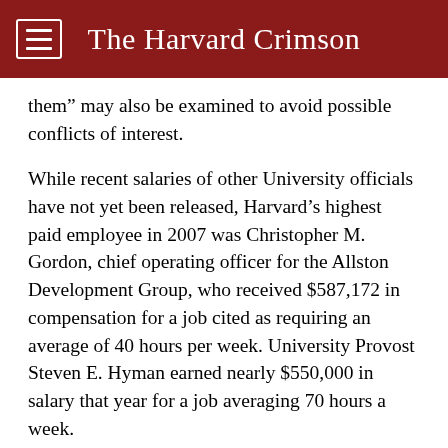The Harvard Crimson
them” may also be examined to avoid possible conflicts of interest.
While recent salaries of other University officials have not yet been released, Harvard’s highest paid employee in 2007 was Christopher M. Gordon, chief operating officer for the Allston Development Group, who received $587,172 in compensation for a job cited as requiring an average of 40 hours per week. University Provost Steven E. Hyman earned nearly $550,000 in salary that year for a job averaging 70 hours a week.
Documentation regarding Summers in the 2006 tax filing states that “Harvard provides the President with a home in Cambridge and requires him to use it as a condition of employment for the convenience of the University,” and as